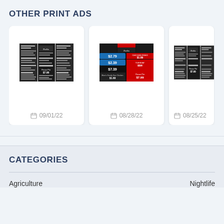OTHER PRINT ADS
[Figure (photo): Print ad thumbnail dated 09/01/22 - black and white restaurant menu ad]
09/01/22
[Figure (photo): Print ad thumbnail dated 08/28/22 - colorful restaurant ad with red, blue, and black sections showing food prices]
08/28/22
[Figure (photo): Print ad thumbnail dated 08/25/22 - partially visible black and white restaurant menu ad]
08/25/22
CATEGORIES
Agriculture
Nightlife